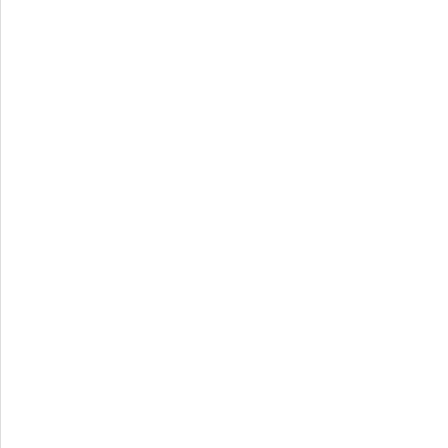ibt.ortc.ortclib.SettingsActivity
ibt.ortc.plugins.IbtRealtimeS…
ibt.ortc.plugins.IbtRealtimeS…
ibt.ortc.plugins.IbtRealtimeS…
ibt.ortc.plugins.IbtRealtimeS…
ibt.ortc.plugins.IbtRealtimeS…
ibt.ortc.plugins.websocket.W…
ibt.ortc.plugins.websocket.W…
ibt.ortc.plugins.websocket.W…
ibt.ortc.plugins.websocket.W…
ibt.ortc.plugins.websocket.W…
ibt.ortc.plugins.websocket.W…
ibt.ortc.plugins.websocket.W…
ibt.ortc.plugins.websocket.W…